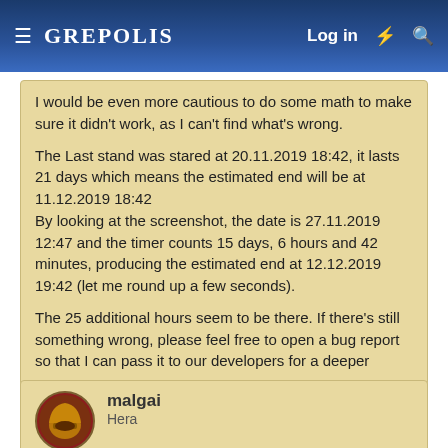GREPOLIS — Log in
I would be even more cautious to do some math to make sure it didn't work, as I can't find what's wrong.

The Last stand was stared at 20.11.2019 18:42, it lasts 21 days which means the estimated end will be at 11.12.2019 18:42
By looking at the screenshot, the date is 27.11.2019 12:47 and the timer counts 15 days, 6 hours and 42 minutes, producing the estimated end at 12.12.2019 19:42 (let me round up a few seconds).

The 25 additional hours seem to be there. If there's still something wrong, please feel free to open a bug report so that I can pass it to our developers for a deeper investigation. Thank you 🙂
malgai
Hera